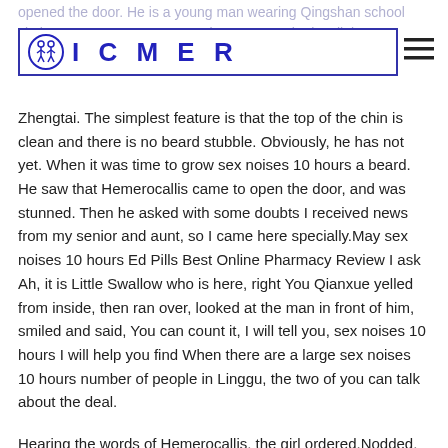opened the door. He is a young man wearing Qingshan school clothes...very immature, or he is a little Zhengtai.
[Figure (logo): ICMER logo with two figures icon inside a rectangular border with blue text]
Zhengtai. The simplest feature is that the top of the chin is clean and there is no beard stubble. Obviously, he has not yet. When it was time to grow sex noises 10 hours a beard. He saw that Hemerocallis came to open the door, and was stunned. Then he asked with some doubts I received news from my senior and aunt, so I came here specially.May sex noises 10 hours Ed Pills Best Online Pharmacy Review I ask Ah, it is Little Swallow who is here, right You Qianxue yelled from inside, then ran over, looked at the man in front of him, smiled and said, You can count it, I will tell you, sex noises 10 hours I will help you find When there are a large sex noises 10 hours number of people in Linggu, the two of you can talk about the deal.

Hearing the words of Hemerocallis, the girl ordered.Nodded, then went back to discuss with some other girls for a while and then came over and responded.